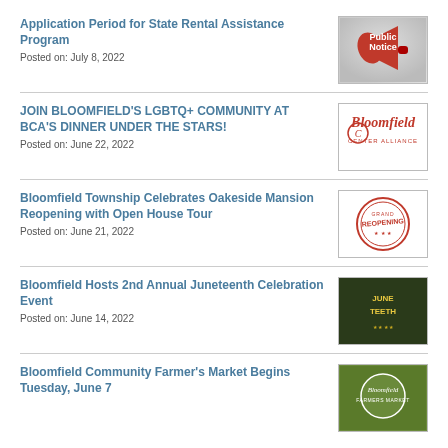Application Period for State Rental Assistance Program
Posted on: July 8, 2022
[Figure (photo): Public Notice image with red megaphone]
JOIN BLOOMFIELD'S LGBTQ+ COMMUNITY AT BCA'S DINNER UNDER THE STARS!
Posted on: June 22, 2022
[Figure (logo): Bloomfield Center Alliance logo in red cursive]
Bloomfield Township Celebrates Oakeside Mansion Reopening with Open House Tour
Posted on: June 21, 2022
[Figure (photo): Grand Reopening stamp logo in red]
Bloomfield Hosts 2nd Annual Juneteenth Celebration Event
Posted on: June 14, 2022
[Figure (photo): Juneteenth event flyer with dark background]
Bloomfield Community Farmer's Market Begins Tuesday, June 7
[Figure (logo): Bloomfield farmers market logo]